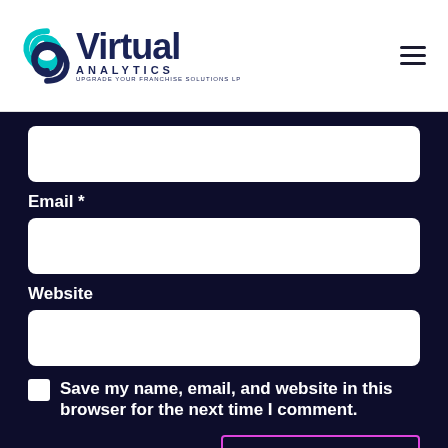Virtual Analytics logo and navigation menu
[Figure (screenshot): Website comment form with Email and Website input fields, a save checkbox, and a Post Comment button on dark navy background]
Email *
Website
Save my name, email, and website in this browser for the next time I comment.
Post Comment